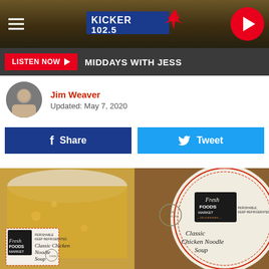Kicker 102.5
LISTEN NOW ▶   MIDDAYS WITH JESS
Jim Weaver
Updated: May 7, 2020
Share
Tweet
[Figure (photo): Two containers of Fresh Foods Market Classic Chicken Noodle Soup with labels visible, showing perishable/keep refrigerated text and USDA inspection stamp]
Classic Chicken Noodle Soup — Fresh Foods Market, Perishable, Keep Refrigerated